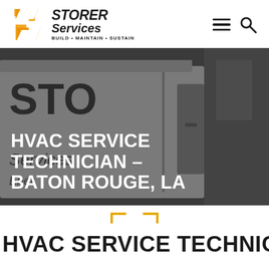[Figure (logo): Storer Services logo with orange S-shaped arrow graphic, bold italic text 'STORER Services' and tagline 'BUILD • MAINTAIN • SUSTAIN']
[Figure (photo): Dark photo of a Storer Services van/truck exterior with large text on vehicle, hero banner with white bold text overlay reading 'HVAC SERVICE TECHNICIAN – BATON ROUGE, LA']
HVAC SERVICE TECHNICIAN – BATON ROUGE, LA
HVAC SERVICE TECHNICIAN